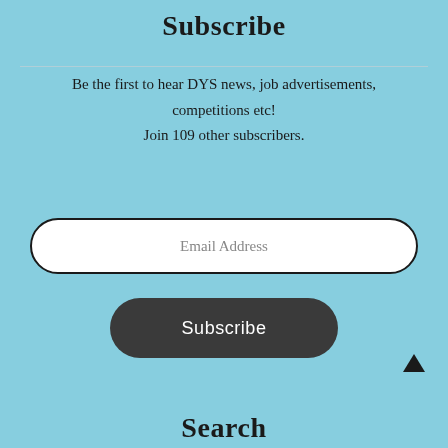Subscribe
Be the first to hear DYS news, job advertisements, competitions etc!
Join 109 other subscribers.
[Figure (other): Email Address input field with rounded border]
[Figure (other): Subscribe button with dark rounded background]
[Figure (other): Up arrow icon]
Search